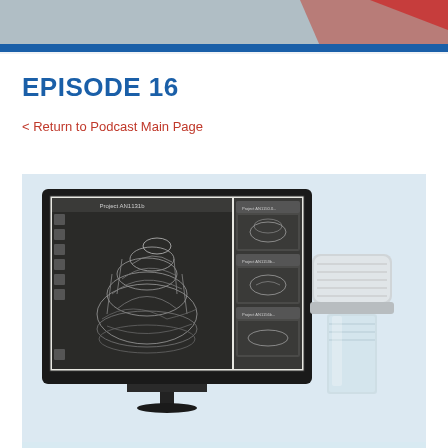[Figure (photo): Partial webpage header showing a decorative banner image with a blue horizontal bar beneath it]
EPISODE 16
< Return to Podcast Main Page
[Figure (photo): A computer monitor displaying a 3D CAD wireframe model of a mechanical part (appears to be a drill bit or turbine component), with a panel on the right showing thumbnail views of related 3D models. In the foreground to the right is a physical transparent plastic bottle cap or fitting, partially visible.]